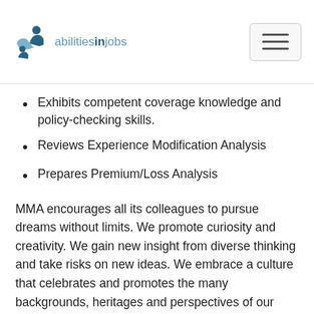abilitiesinjobs
Exhibits competent coverage knowledge and policy-checking skills.
Reviews Experience Modification Analysis
Prepares Premium/Loss Analysis
MMA encourages all its colleagues to pursue dreams without limits. We promote curiosity and creativity. We gain new insight from diverse thinking and take risks on new ideas. We embrace a culture that celebrates and promotes the many backgrounds, heritages and perspectives of our colleagues and clients. We are